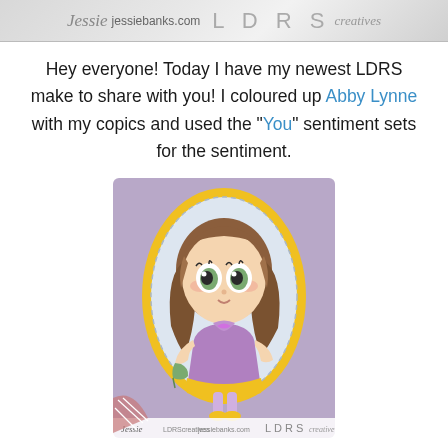jessiebanks.com   L D R S creatives
Hey everyone! Today I have my newest LDRS make to share with you! I coloured up Abby Lynne with my copics and used the “You” sentiment sets for the sentiment.
[Figure (illustration): A hand-coloured card image showing a big-eyed cartoon girl with brown hair wearing a purple dress with yellow trim, set in an oval yellow frame on a purple background. At the bottom is a jessiebanks.com / LDRS Creative watermark.]